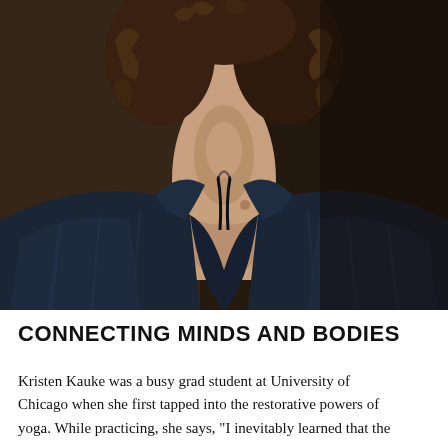[Figure (photo): Portrait photo of a woman with curly dark hair, wearing a dark navy blue satin blouse, photographed against a dark brown background. The shot is from roughly chest-up, with the subject's chin tilted slightly upward.]
CONNECTING MINDS AND BODIES
Kristen Kauke was a busy grad student at University of Chicago when she first tapped into the restorative powers of yoga. While practicing, she says, "I inevitably learned that the...